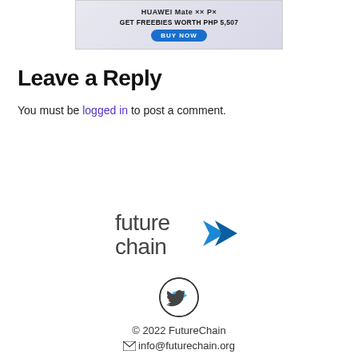[Figure (screenshot): Advertisement banner showing HUAWEI Mate product with 'GET FREEBIES WORTH PHP 5,507' and a 'BUY NOW' button]
Leave a Reply
You must be logged in to post a comment.
[Figure (logo): FutureChain logo with text 'future chain' and a blue arrow/chevron pointing right]
[Figure (illustration): Twitter bird icon inside a circle]
© 2022 FutureChain
info@futurechain.org